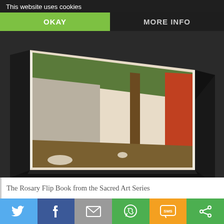This website uses cookies
OKAY
MORE INFO
[Figure (photo): A desk easel-style flip book displaying a classical sacred art painting showing robed figures in a garden or outdoor setting. The book is propped open in an A-frame shape with a black base, photographed at an angle.]
The Rosary Flip Book from the Sacred Art Series
[Figure (infographic): Social sharing bar with six buttons: Twitter (blue bird), Facebook (blue f), Email (grey envelope), WhatsApp (green phone), SMS (orange SMS), and another green icon.]